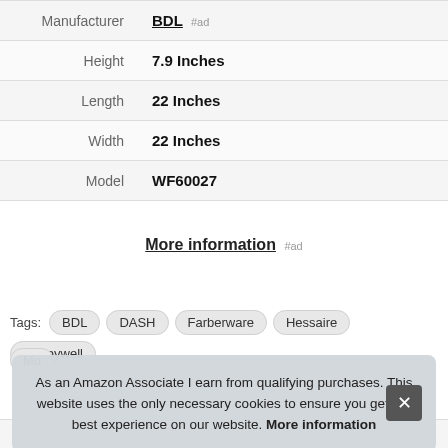| Attribute | Value |
| --- | --- |
| Manufacturer | BDL #ad |
| Height | 7.9 Inches |
| Length | 22 Inches |
| Width | 22 Inches |
| Model | WF60027 |
More information #ad
Tags: BDL  DASH  Farberware  Hessaire  Honeywell
Mo...
As an Amazon Associate I earn from qualifying purchases. This website uses the only necessary cookies to ensure you get the best experience on our website. More information